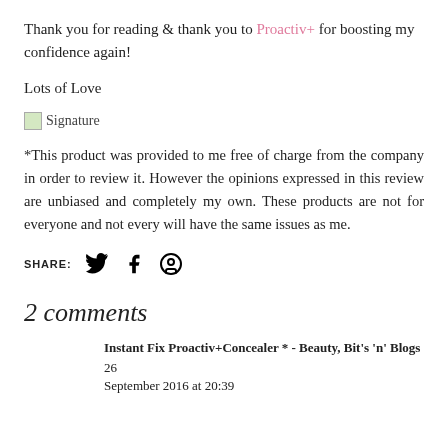Thank you for reading & thank you to Proactiv+ for boosting my confidence again!
Lots of Love
[Figure (illustration): Handwritten signature image]
*This product was provided to me free of charge from the company in order to review it. However the opinions expressed in this review are unbiased and completely my own. These products are not for everyone and not every will have the same issues as me.
SHARE: [Twitter] [Facebook] [Pinterest]
2 comments
Instant Fix Proactiv+Concealer * - Beauty, Bit's 'n' Blogs  26 September 2016 at 20:39